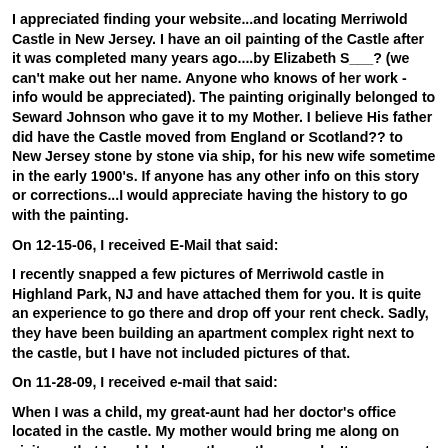I appreciated finding your website...and locating Merriwold Castle in New Jersey. I have an oil painting of the Castle after it was completed many years ago....by Elizabeth S___? (we can't make out her name. Anyone who knows of her work - info would be appreciated). The painting originally belonged to Seward Johnson who gave it to my Mother. I believe His father did have the Castle moved from England or Scotland?? to New Jersey stone by stone via ship, for his new wife sometime in the early 1900's. If anyone has any other info on this story or corrections...I would appreciate having the history to go with the painting.
On 12-15-06, I received E-Mail that said:
I recently snapped a few pictures of Merriwold castle in Highland Park, NJ and have attached them for you. It is quite an experience to go there and drop off your rent check. Sadly, they have been building an apartment complex right next to the castle, but I have not included pictures of that.
On 11-28-09, I received e-mail that said:
When I was a child, my great-aunt had her doctor's office located in the castle. My mother would bring me along on visits so that I could play on the castle grounds. It was a great treat. I